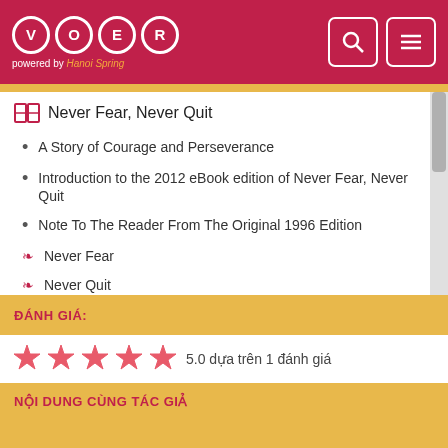VOER powered by Hanoi Spring
Never Fear, Never Quit
A Story of Courage and Perseverance
Introduction to the 2012 eBook edition of Never Fear, Never Quit
Note To The Reader From The Original 1996 Edition
Never Fear
Never Quit
ĐÁNH GIÁ:
5.0 dựa trên 1 đánh giá
NỘI DUNG CÙNG TÁC GIẢ